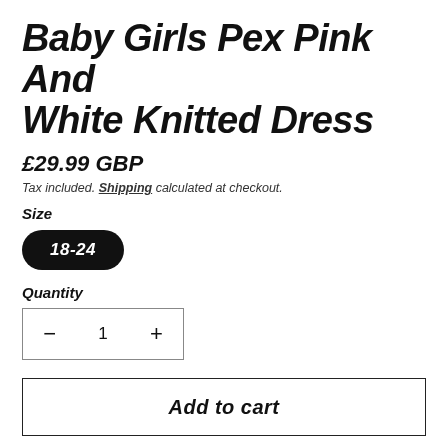Baby Girls Pex Pink And White Knitted Dress
£29.99 GBP
Tax included. Shipping calculated at checkout.
Size
18-24
Quantity
− 1 +
Add to cart